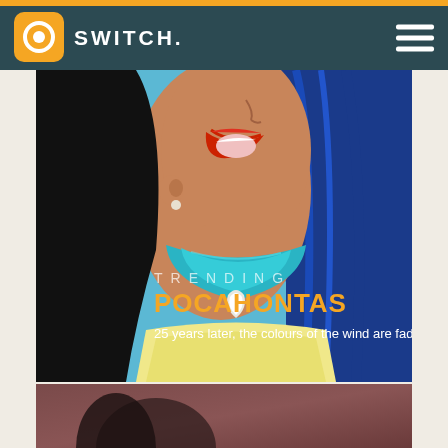SWITCH.
[Figure (illustration): Animated illustration of Pocahontas character from Disney, close-up showing face and upper body with teal necklace. Overlaid text reads TRENDING, POCAHONTAS, 25 years later, the colours of the wind are fading]
[Figure (photo): Lower portion of a second image with brownish/dark tones, partially visible]